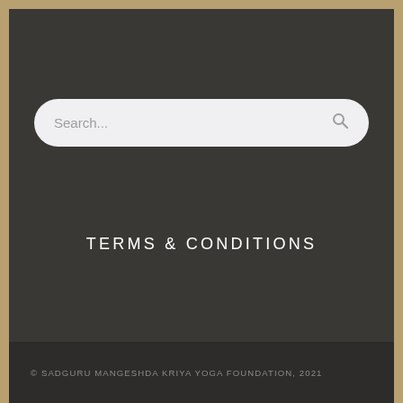[Figure (screenshot): Search bar with rounded rectangle shape on dark background, showing placeholder text 'Search...' and a magnifying glass icon on the right.]
TERMS & CONDITIONS
© SADGURU MANGESHDA KRIYA YOGA FOUNDATION, 2021